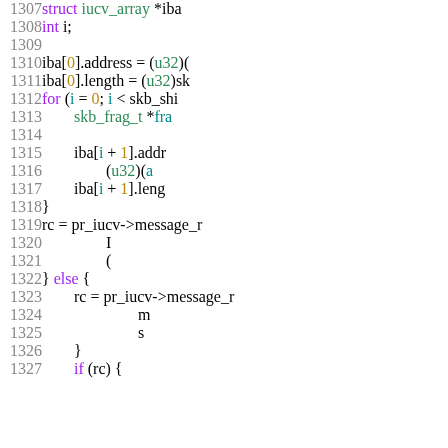Source code listing, lines 1307-1327, showing C kernel networking code with iucv_array operations and message receive calls.